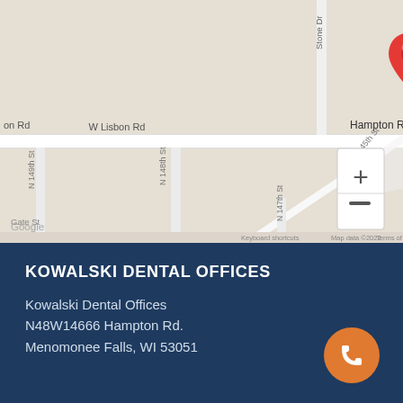[Figure (map): Google Maps screenshot showing the area around N48W14666 Hampton Rd, Menomonee Falls, WI 53051. Visible streets include W Lisbon Rd, Hampton Rd, Dolphin Dr, Stone Dr, N 145th St, N 147th St, N 148th St, N 149th St, and Gate St. A red location pin is placed near Dolphin Dr and Hampton Rd intersection. Map zoom controls (+/-) are visible in the lower right. Google branding and 'Keyboard shortcuts  Map data ©2022  Terms of Use' appear at the bottom.]
KOWALSKI DENTAL OFFICES
Kowalski Dental Offices
N48W14666 Hampton Rd.
Menomonee Falls, WI 53051